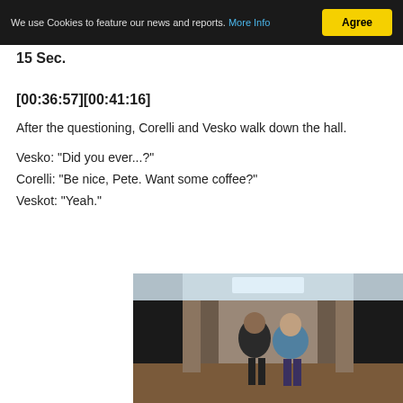We use Cookies to feature our news and reports. More Info  Agree
15 Sec.
[00:36:57][00:41:16]
After the questioning, Corelli and Vesko walk down the hall.
Vesko: "Did you ever...?"
Corelli: "Be nice, Pete. Want some coffee?"
Veskot: "Yeah."
[Figure (photo): Two men walking down a hallway with office cubicles on either side. Appears to be a film or TV show still.]